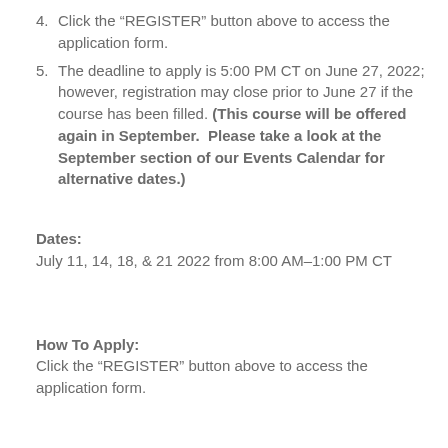4. Click the “REGISTER” button above to access the application form.
5. The deadline to apply is 5:00 PM CT on June 27, 2022; however, registration may close prior to June 27 if the course has been filled. (This course will be offered again in September.  Please take a look at the September section of our Events Calendar for alternative dates.)
Dates:
July 11, 14, 18, & 21 2022 from 8:00 AM–1:00 PM CT
How To Apply:
Click the “REGISTER” button above to access the application form.